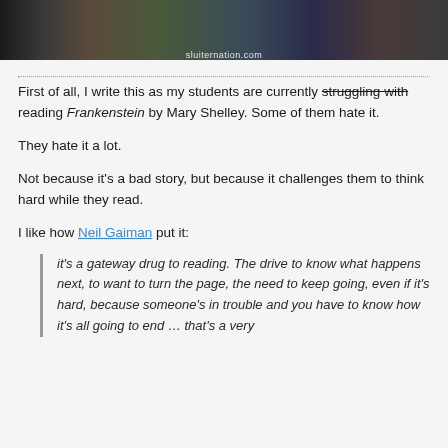[Figure (photo): Photo of bookshelves with books, dark background, with watermark 'sluiternation.com' at the bottom]
First of all, I write this as my students are currently struggling with reading Frankenstein by Mary Shelley. Some of them hate it.
They hate it a lot.
Not because it's a bad story, but because it challenges them to think hard while they read.
I like how Neil Gaiman put it:
it's a gateway drug to reading. The drive to know what happens next, to want to turn the page, the need to keep going, even if it's hard, because someone's in trouble and you have to know how it's all going to end … that's a very